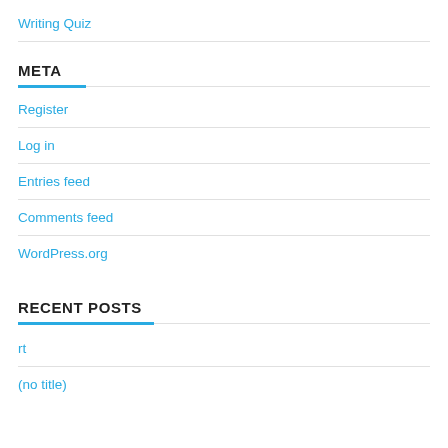Writing Quiz
META
Register
Log in
Entries feed
Comments feed
WordPress.org
RECENT POSTS
rt
(no title)